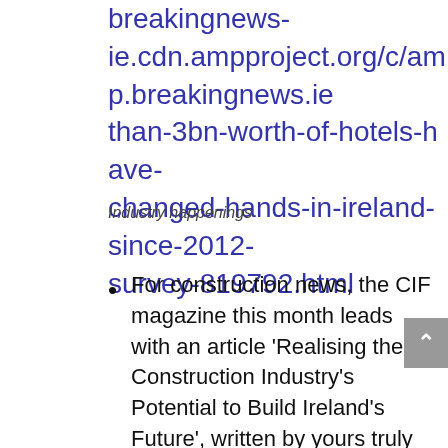breakingnews-ie.cdn.ampproject.org/c/amp.breakingnews.ie/than-3bn-worth-of-hotels-have-changed-hands-in-ireland-since-2012-survey-819792.html
Industry happenings
For construction news, the CIF magazine this month leads with an article 'Realising the Construction Industry's Potential to Build Ireland's Future', written by yours truly (that's my declaration of bias!), however, the entire issue is packed with insights from Irish